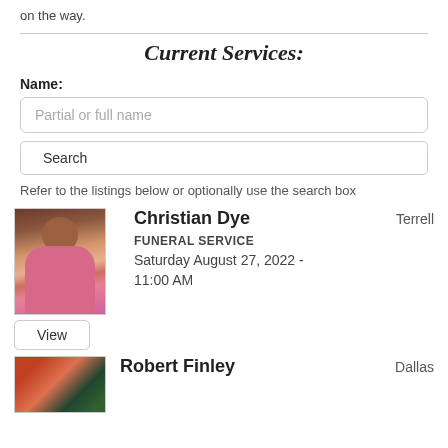on the way.
Current Services:
Name:
Partial or full name
Search
Refer to the listings below or optionally use the search box
[Figure (photo): Photo of Christian Dye, an elderly woman in a pink sweater seated with arms crossed]
Christian Dye    Terrell
FUNERAL SERVICE
Saturday August 27, 2022 - 11:00 AM
View
[Figure (photo): Partial photo of Robert Finley with Christmas decorations visible]
Robert Finley    Dallas